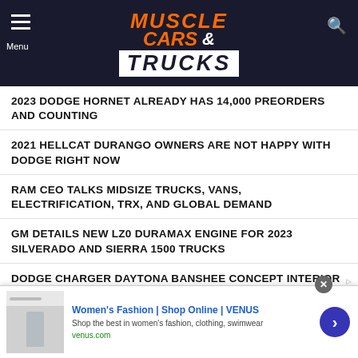[Figure (logo): Muscle Cars & Trucks website logo with navigation menu icon and search icon on dark navy background]
2023 DODGE HORNET ALREADY HAS 14,000 PREORDERS AND COUNTING
2021 HELLCAT DURANGO OWNERS ARE NOT HAPPY WITH DODGE RIGHT NOW
RAM CEO TALKS MIDSIZE TRUCKS, VANS, ELECTRIFICATION, TRX, AND GLOBAL DEMAND
GM DETAILS NEW LZ0 DURAMAX ENGINE FOR 2023 SILVERADO AND SIERRA 1500 TRUCKS
DODGE CHARGER DAYTONA BANSHEE CONCEPT INTERIOR DESIGN IS A RETRO SPACESHIP
A CLOSER LOOK AT THE DODGE CHARGER DAYTONA EV
[Figure (screenshot): Advertisement banner for VENUS women's fashion with image of model, ad title 'Women's Fashion | Shop Online | VENUS', description 'Shop the best in women's fashion, clothing, swimwear', URL venus.com, and a blue arrow button]